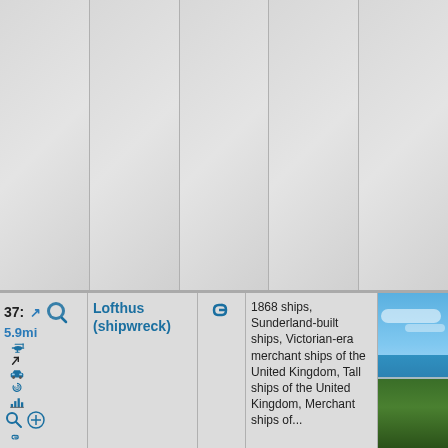[Figure (screenshot): Top grid area with 5 columns of light gray textured background cells separated by vertical lines]
| #/dist/icons | Name | Link | Description | Photo |
| --- | --- | --- | --- | --- |
| 37: ↗ 5.9mi [icons] | Lofthus (shipwreck) | [link icon] | 1868 ships, Sunderland-built ships, Victorian-era merchant ships of the United Kingdom, Tall ships of the United Kingdom, Merchant ships of... | [photo of ocean/beach scene] |
[Figure (photo): Coastal photo showing blue sky with light clouds, turquoise ocean in the background, and green tropical vegetation in the foreground with a fence or railing]